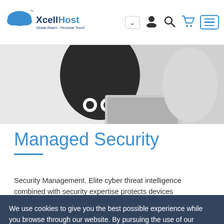XcellHost - Global Reach - Personal Touch
[Figure (illustration): Partial illustration of a person in dark hoodie with skull graphic sitting at a laptop, cybersecurity theme]
Managed Security
Security Management. Elite cyber threat intelligence combined with security expertise protects devices and data and provides continuous security monitoring to your expanding your perimeter 24x7
We use cookies to give you the best possible experience while you browse through our website. By pursuing the use of our website you implicitly agree to the usage of cookies on this site.